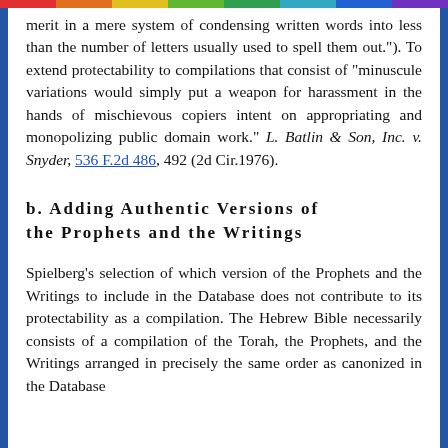merit in a mere system of condensing written words into less than the number of letters usually used to spell them out."). To extend protectability to compilations that consist of "minuscule variations would simply put a weapon for harassment in the hands of mischievous copiers intent on appropriating and monopolizing public domain work." L. Batlin & Son, Inc. v. Snyder, 536 F.2d 486, 492 (2d Cir.1976).
b. Adding Authentic Versions of the Prophets and the Writings
Spielberg's selection of which version of the Prophets and the Writings to include in the Database does not contribute to its protectability as a compilation. The Hebrew Bible necessarily consists of a compilation of the Torah, the Prophets, and the Writings arranged in precisely the same order as canonized in the Database